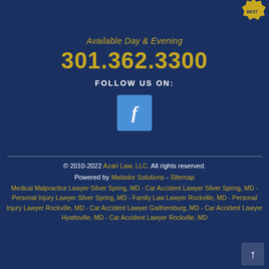[Figure (logo): Partial gold seal/badge logo in top right corner]
Available Day & Evening
301.362.3300
FOLLOW US ON:
[Figure (illustration): Facebook social media icon - blue square with white letter f]
© 2010-2022 Azari Law, LLC. All rights reserved. Powered by Matador Solutions - Sitemap Medical Malpractice Lawyer Silver Spring, MD - Car Accident Lawyer Silver Spring, MD - Personal Injury Lawyer Silver Spring, MD - Family Law Lawyer Rockville, MD - Personal Injury Lawyer Rockville, MD - Car Accident Lawyer Gaithersburg, MD - Car Accident Lawyer Hyattsville, MD - Car Accident Lawyer Rockville, MD